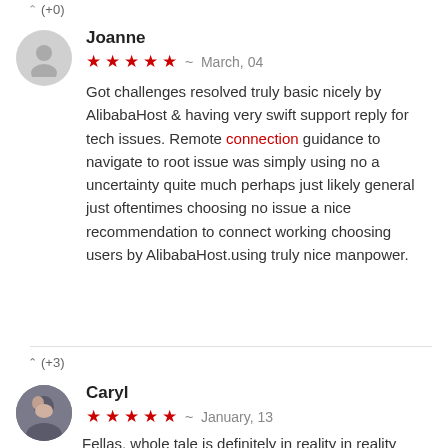(+0)
Joanne
★★★★★  ~  March, 04
Got challenges resolved truly basic nicely by AlibabaHost & having very swift support reply for tech issues. Remote connection guidance to navigate to root issue was simply using no a uncertainty quite much perhaps just likely general just oftentimes choosing no issue a nice recommendation to connect working choosing users by AlibabaHost.using truly nice manpower.
(+3)
Caryl
★★★★★  ~  January, 13
Fellas, whole tale is definitely in reality in reality